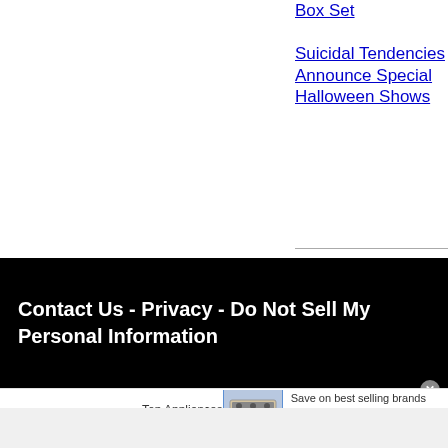Box Set
Suicidal Tendencies Announce Special Halloween Shows
Contact Us - Privacy - Do Not Sell My Personal Information
[Figure (other): Wayfair advertisement banner: Top Appliances Low Prices, Save on best selling brands that live up to the hype, Shop now button, appliance image]